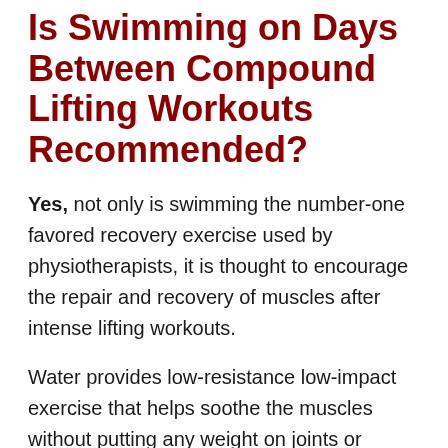Is Swimming on Days Between Compound Lifting Workouts Recommended?
Yes, not only is swimming the number-one favored recovery exercise used by physiotherapists, it is thought to encourage the repair and recovery of muscles after intense lifting workouts.
Water provides low-resistance low-impact exercise that helps soothe the muscles without putting any weight on joints or muscles. Swimming is also an ideal cardio exercise to engage in while the muscles worked during lifting can repair, recover, and regrow.
Is a Personal Trainer Necessary